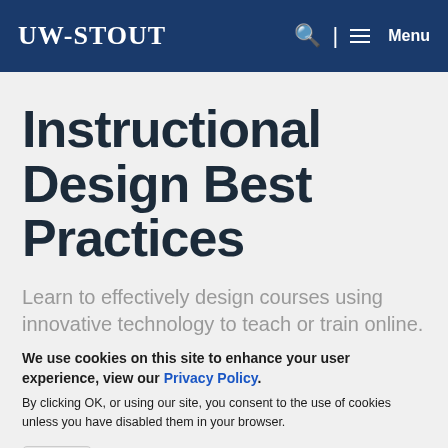UW-STOUT | Menu
Instructional Design Best Practices
Learn to effectively design courses using innovative technology to teach or train online.
We use cookies on this site to enhance your user experience, view our Privacy Policy.
By clicking OK, or using our site, you consent to the use of cookies unless you have disabled them in your browser.
OK